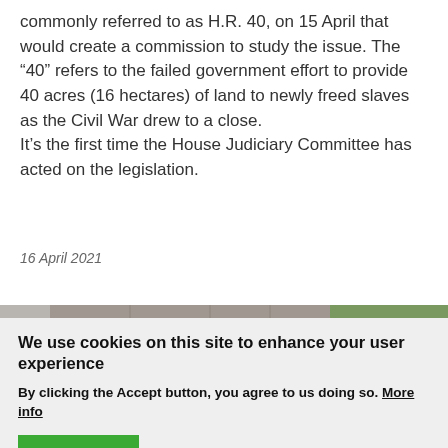commonly referred to as H.R. 40, on 15 April that would create a commission to study the issue. The “40” refers to the failed government effort to provide 40 acres (16 hectares) of land to newly freed slaves as the Civil War drew to a close. It’s the first time the House Judiciary Committee has acted on the legislation.
16 April 2021
[Figure (photo): News photo showing two women outdoors near a stone wall and trees, with a NEWS badge in the upper left corner.]
We use cookies on this site to enhance your user experience
By clicking the Accept button, you agree to us doing so. More info